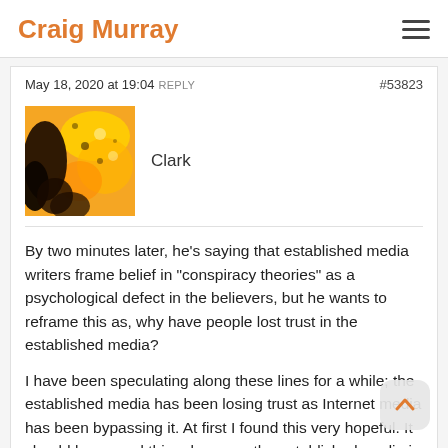Craig Murray
May 18, 2020 at 19:04 REPLY   #53823
Clark
[Figure (photo): User avatar image showing an abstract orange and yellow pattern with a dark silhouette]
By two minutes later, he's saying that established media writers frame belief in "conspiracy theories" as a psychological defect in the believers, but he wants to reframe this as, why have people lost trust in the established media?

I have been speculating along these lines for a while; the established media has been losing trust as Internet media has been bypassing it. At first I found this very hopeful. It should be a good thing, because the established media is the corporate media, and it is subject to institutional bias.